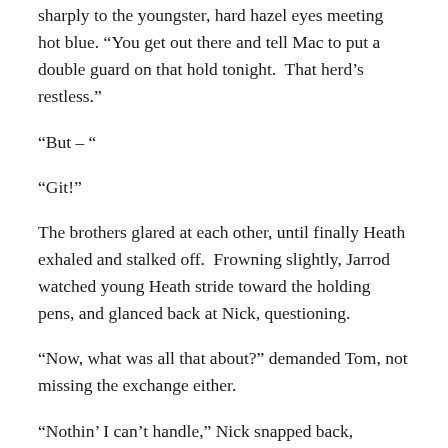sharply to the youngster, hard hazel eyes meeting hot blue. “You get out there and tell Mac to put a double guard on that hold tonight.  That herd’s restless.”
“But – “
“Git!”
The brothers glared at each other, until finally Heath exhaled and stalked off.  Frowning slightly, Jarrod watched young Heath stride toward the holding pens, and glanced back at Nick, questioning.
“Now, what was all that about?” demanded Tom, not missing the exchange either.
“Nothin’ I can’t handle,” Nick snapped back, making Tom’s eyes narrow.  “Father, Barrett’s a – “